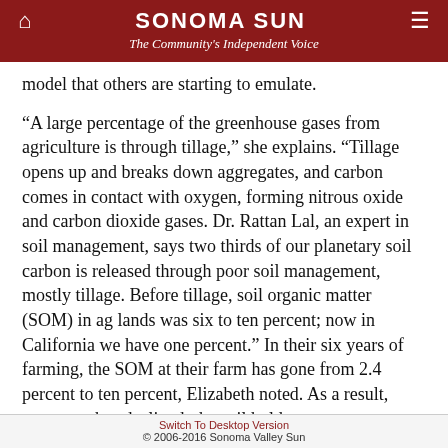SONOMA SUN
The Community's Independent Voice
model that others are starting to emulate.
“A large percentage of the greenhouse gases from agriculture is through tillage,” she explains. “Tillage opens up and breaks down aggregates, and carbon comes in contact with oxygen, forming nitrous oxide and carbon dioxide gases. Dr. Rattan Lal, an expert in soil management, says two thirds of our planetary soil carbon is released through poor soil management, mostly tillage. Before tillage, soil organic matter (SOM) in ag lands was six to ten percent; now in California we have one percent.” In their six years of farming, the SOM at their farm has gone from 2.4 percent to ten percent, Elizabeth noted. As a result, water use has declined; the soil holds water so efficiently that the Kaisers only need to run their drip system twice a week for 20 minutes.
Switch To Desktop Version
© 2006-2016 Sonoma Valley Sun